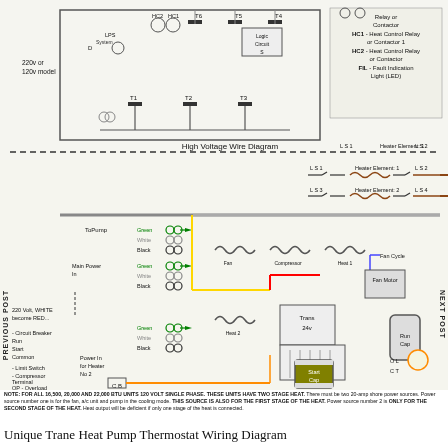[Figure (schematic): High Voltage Wire Diagram (top portion) showing 220v/120v model with HC1, HC2, FIL relay/contactor legend, logic circuit, terminal blocks T1-T6, and LPS component wiring schematic with dashed border separator.]
[Figure (schematic): Main heat pump wiring diagram showing compressor, fan, heat 1, heat 2, heat 3 coils, transformer, start capacitor, run capacitor, fan motor, CT, OL connections. Includes colored wires (green, white, black, yellow, red, blue, brown/orange), ToPump and Main Power In connections, LS1-LS4 limit switches, Heater Elements 1-2, Fan Cycle connection, and labeled components. Left side labels: 220 Volt WHITE become RED, Circuit Breaker Run/Start/Common, Limit Switch, Compressor Terminal, OP Overload Protection. Power In for Heater No 2 labeled at bottom left.]
NOTE: FOR ALL 16,500, 20,000 AND 22,000 BTU UNITS 120 VOLT SINGLE PHASE. THESE UNITS HAVE TWO STAGE HEAT. There must be two 20-amp shore power sources. Power source number one is for the fan, a/c unit and pump in the cooling mode. THIS SOURCE IS ALSO FOR THE FIRST STAGE OF THE HEAT. Power source number 2 is ONLY FOR THE SECOND STAGE OF THE HEAT. Heat output will be deficient if only one stage of the heat is connected.
Unique Trane Heat Pump Thermostat Wiring Diagram